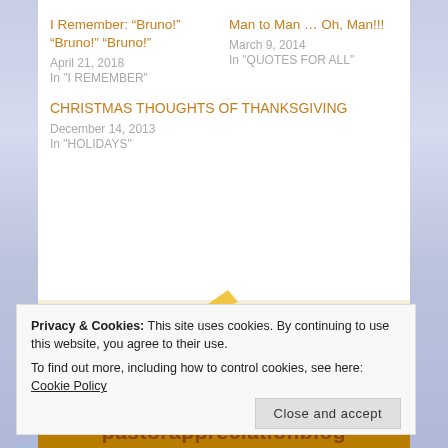I Remember: “Bruno!” “Bruno!” “Bruno!”
April 21, 2018
In "I REMEMBER"
Man to Man … Oh, Man!!!
March 9, 2014
In "QUOTES FOR ALL"
CHRISTMAS THOUGHTS OF THANKSGIVING
December 14, 2013
In "HOLIDAYS"
Privacy & Cookies: This site uses cookies. By continuing to use this website, you agree to their use.
To find out more, including how to control cookies, see here: Cookie Policy
Close and accept
pastorappreciationblog